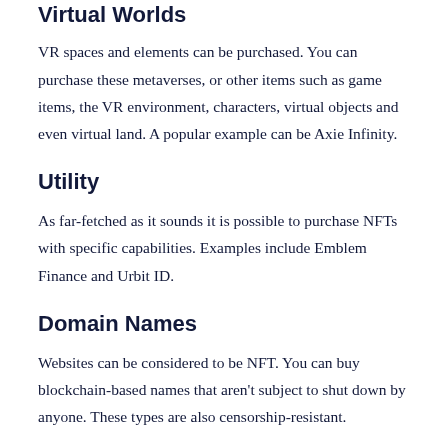Virtual Worlds
VR spaces and elements can be purchased. You can purchase these metaverses, or other items such as game items, the VR environment, characters, virtual objects and even virtual land. A popular example can be Axie Infinity.
Utility
As far-fetched as it sounds it is possible to purchase NFTs with specific capabilities. Examples include Emblem Finance and Urbit ID.
Domain Names
Websites can be considered to be NFT. You can buy blockchain-based names that aren't subject to shut down by anyone. These types are also censorship-resistant.